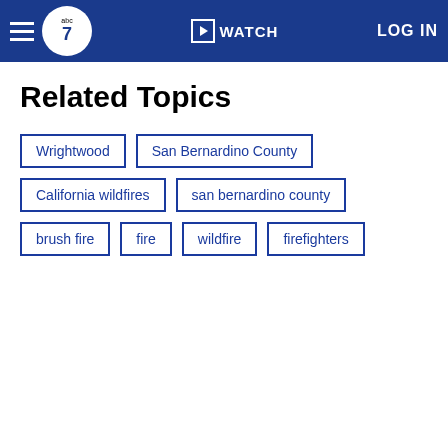ABC7 Navigation — WATCH | LOG IN
Related Topics
Wrightwood
San Bernardino County
California wildfires
san bernardino county
brush fire
fire
wildfire
firefighters